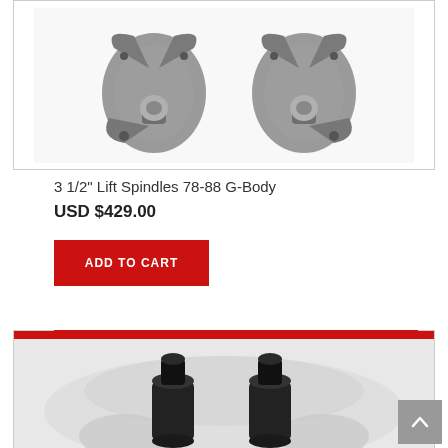[Figure (photo): Two metallic lift spindles side by side, automotive parts for 78-88 G-Body vehicles]
3 1/2" Lift Spindles 78-88 G-Body
USD $429.00
ADD TO CART
[Figure (photo): Two black cylindrical automotive parts (coil spring spacers or similar) in front of a light-colored vehicle, with a red bar at the top of the image]